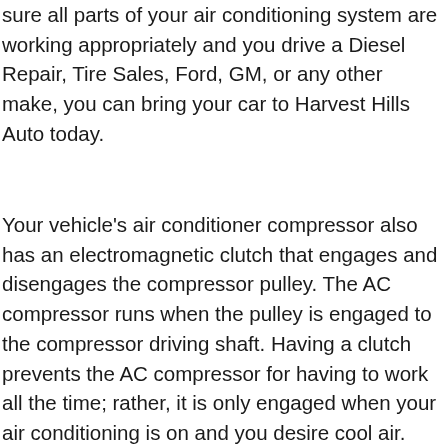sure all parts of your air conditioning system are working appropriately and you drive a Diesel Repair, Tire Sales, Ford, GM, or any other make, you can bring your car to Harvest Hills Auto today.
Your vehicle's air conditioner compressor also has an electromagnetic clutch that engages and disengages the compressor pulley. The AC compressor runs when the pulley is engaged to the compressor driving shaft. Having a clutch prevents the AC compressor for having to work all the time; rather, it is only engaged when your air conditioning is on and you desire cool air.